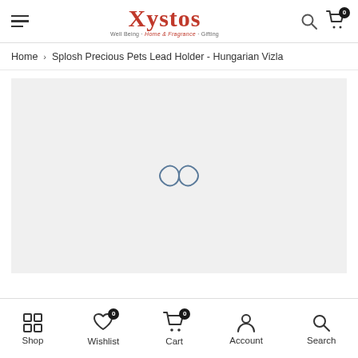Xystos — Well Being · Home & Fragrance · Gifting
Home > Splosh Precious Pets Lead Holder - Hungarian Vizla
[Figure (photo): Product image loading area with a loading spinner (infinity-like loop symbol) on a light grey background]
Shop | Wishlist (0) | Cart (0) | Account | Search